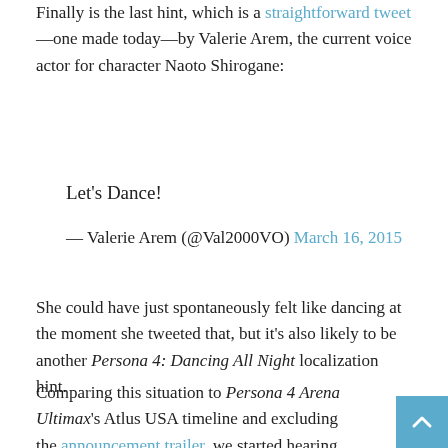Finally is the last hint, which is a straightforward tweet—one made today—by Valerie Arem, the current voice actor for character Naoto Shirogane:
Let's Dance!
— Valerie Arem (@Val2000VO) March 16, 2015
She could have just spontaneously felt like dancing at the moment she tweeted that, but it's also likely to be another Persona 4: Dancing All Night localization hint.
Comparing this situation to Persona 4 Arena Ultimax's Atlus USA timeline and excluding the announcement trailer, we started hearing rumblings of potential P4AU voice work by Yukiko Amagi's voice actor, Amanda Winn-Lee, on February 19, 2014, and the game's first English showing was the